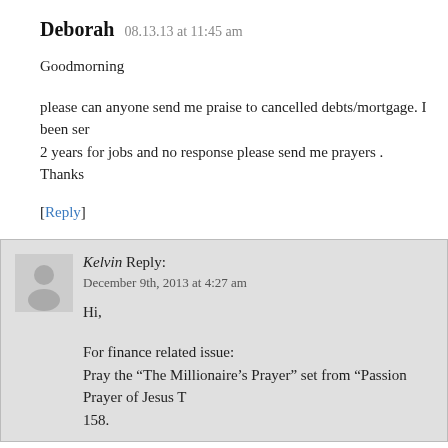Deborah   08.13.13 at 11:45 am
Goodmorning
please can anyone send me praise to cancelled debts/mortgage. I been ser 2 years for jobs and no response please send me prayers .
Thanks
[Reply]
Kelvin Reply:
December 9th, 2013 at 4:27 am
Hi,
For finance related issue:
Pray the “The Millionaire’s Prayer” set from “Passion Prayer of Jesus T 158.